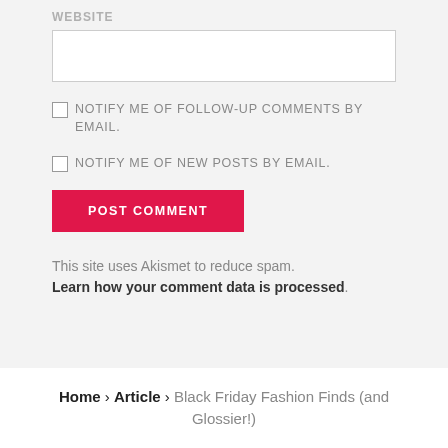WEBSITE
NOTIFY ME OF FOLLOW-UP COMMENTS BY EMAIL.
NOTIFY ME OF NEW POSTS BY EMAIL.
POST COMMENT
This site uses Akismet to reduce spam. Learn how your comment data is processed.
Home › Article › Black Friday Fashion Finds (and Glossier!)